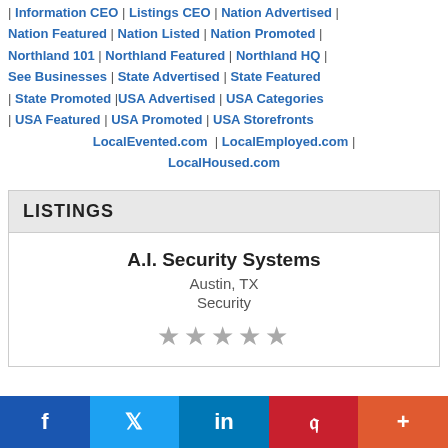| Information CEO | Listings CEO | Nation Advertised | Nation Featured | Nation Listed | Nation Promoted | Northland 101 | Northland Featured | Northland HQ | See Businesses | State Advertised | State Featured | State Promoted |USA Advertised | USA Categories | USA Featured | USA Promoted | USA Storefronts LocalEvented.com | LocalEmployed.com | LocalHoused.com
LISTINGS
A.I. Security Systems
Austin, TX
Security
★★★★★
f | in | P | +